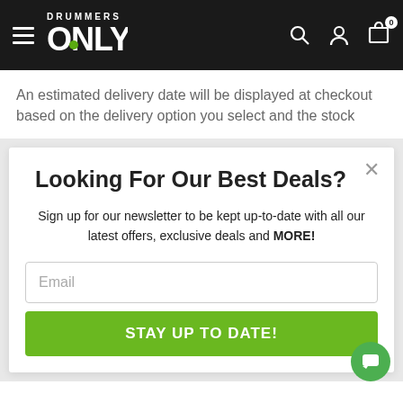DRUMMERS ONLY
An estimated delivery date will be displayed at checkout based on the delivery option you select and the stock
Looking For Our Best Deals?
Sign up for our newsletter to be kept up-to-date with all our latest offers, exclusive deals and MORE!
Email
STAY UP TO DATE!